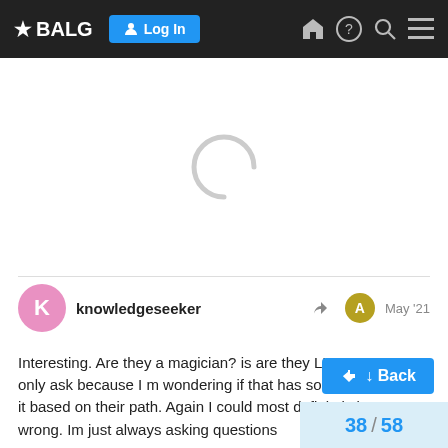★ BALG — navigation bar with Log In button
[Figure (other): Loading spinner (partially drawn circle) in center of page]
knowledgeseeker  May '21
Interesting. Are they a magician? is are they LHP or RHP? I only ask because I m wondering if that has something to with it based on their path. Again I could most definitely be 100% wrong. Im just always asking questions
↓ Back
38 / 58